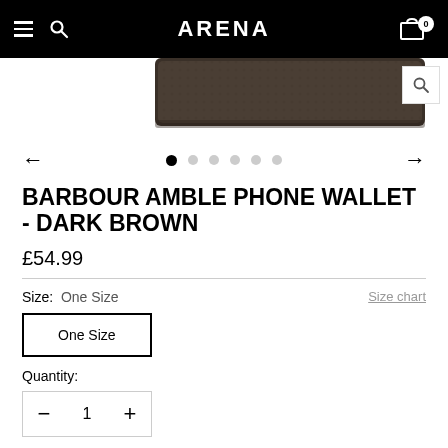ARENA
[Figure (photo): Dark brown leather Barbour Amble Phone Wallet product image, partially visible at top]
[Figure (other): Image carousel navigation with left arrow, 6 dot indicators (first dot filled/active), and right arrow]
BARBOUR AMBLE PHONE WALLET - DARK BROWN
£54.99
Size: One Size
Size chart
One Size
Quantity:
1